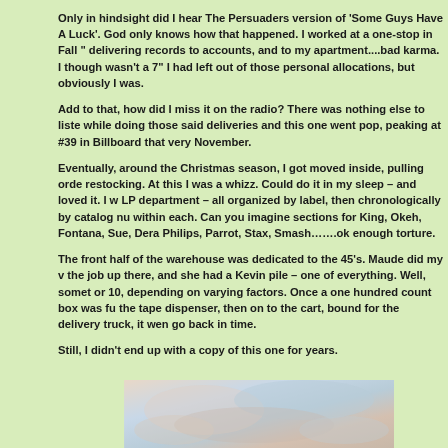Only in hindsight did I hear The Persuaders version of 'Some Guys Have A Luck'. God only knows how that happened. I worked at a one-stop in Fall delivering records to accounts, and to my apartment....bad karma. I thought wasn't a 7" I had left out of those personal allocations, but obviously I was.
Add to that, how did I miss it on the radio? There was nothing else to listen while doing those said deliveries and this one went pop, peaking at #39 in Billboard that very November.
Eventually, around the Christmas season, I got moved inside, pulling orders restocking. At this I was a whizz. Could do it in my sleep – and loved it. I w LP department – all organized by label, then chronologically by catalog nu within each. Can you imagine sections for King, Okeh, Fontana, Sue, Dera Philips, Parrot, Stax, Smash…….ok enough torture.
The front half of the warehouse was dedicated to the 45's. Maude did my v the job up there, and she had a Kevin pile – one of everything. Well, somet or 10, depending on varying factors. Once a one hundred count box was fu the tape dispenser, then on to the cart, bound for the delivery truck, it wen go back in time.
Still, I didn't end up with a copy of this one for years.
[Figure (photo): Partial view of a record or album cover with soft pastel colors – pinks, blues, and tans visible at the bottom of the page.]